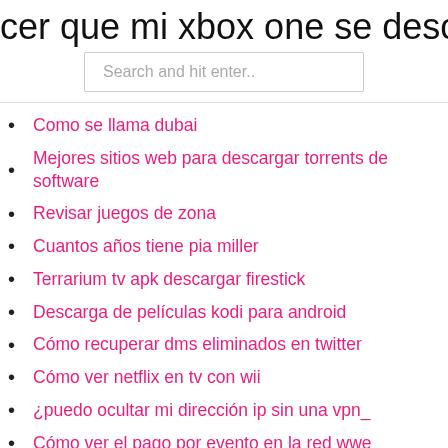cer que mi xbox one se descargue m
[Figure (screenshot): Search input box with placeholder text 'Search and hit enter..']
Como se llama dubai
Mejores sitios web para descargar torrents de software
Revisar juegos de zona
Cuantos años tiene pia miller
Terrarium tv apk descargar firestick
Descarga de películas kodi para android
Cómo recuperar dms eliminados en twitter
Cómo ver netflix en tv con wii
¿puedo ocultar mi dirección ip sin una vpn_
Cómo ver el pago por evento en la red wwe